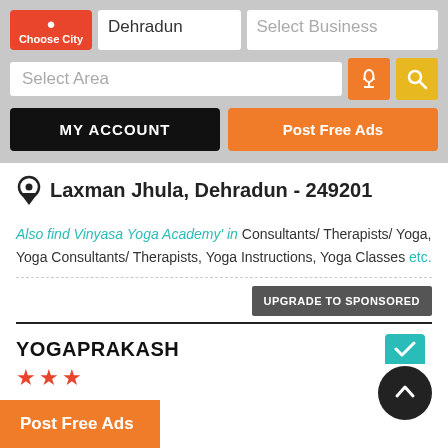[Figure (screenshot): App UI header with Choose City button, Dehradun city input, Select Business input, Select Area input, mic and search buttons, MY ACCOUNT and Post Free Ads action buttons]
Laxman Jhula, Dehradun - 249201
Also find Vinyasa Yoga Academy' in Consultants/ Therapists/ Yoga, Yoga Consultants/ Therapists, Yoga Instructions, Yoga Classes etc.
UPGRADE TO SPONSORED
YOGAPRAKASH
Post Free Ads